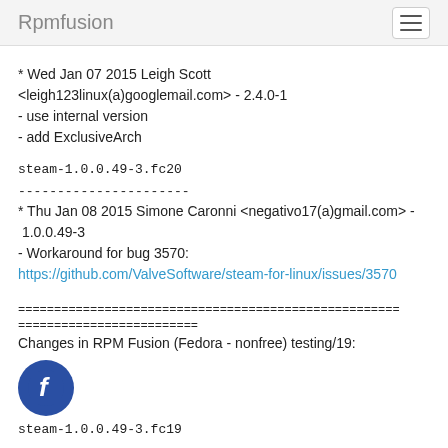Rpmfusion
* Wed Jan 07 2015 Leigh Scott <leigh123linux(a)googlemail.com&gt; - 2.4.0-1
- use internal version
- add ExclusiveArch
steam-1.0.0.49-3.fc20
----------------------
* Thu Jan 08 2015 Simone Caronni <negativo17(a)gmail.com&gt; - 1.0.0.49-3
- Workaround for bug 3570:
https://github.com/ValveSoftware/steam-for-linux/issues/3570
=====================================================
=========================
Changes in RPM Fusion (Fedora - nonfree) testing/19:
[Figure (logo): Fedora logo - blue circle with white 'f' letter]
steam-1.0.0.49-3.fc19